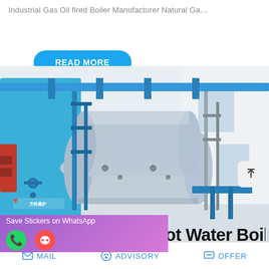Industrial Gas Oil fired Boiler Manufacturer Natural Ga…
READ MORE
[Figure (photo): Industrial gas/oil-fired hot water boiler installation in a factory. A large blue cylindrical boiler with red burner on the left, two large silver/grey horizontal cylindrical tanks in the center, connected by blue metal pipes and scaffolding. Clean white-walled industrial interior with skylights.]
oil Hot Water Boiler
Save Stickers on WhatsApp
MAIL   ADVISORY   OFFER